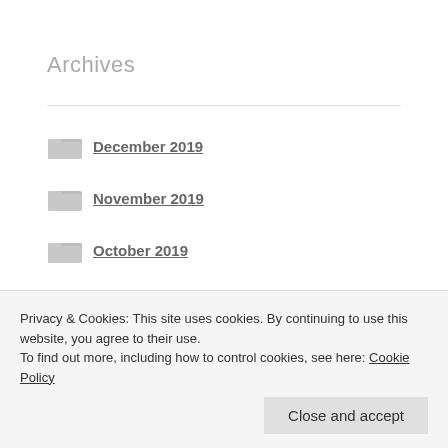Archives
December 2019
November 2019
October 2019
September 2019
August 2019
July 2019
Privacy & Cookies: This site uses cookies. By continuing to use this website, you agree to their use. To find out more, including how to control cookies, see here: Cookie Policy
Close and accept